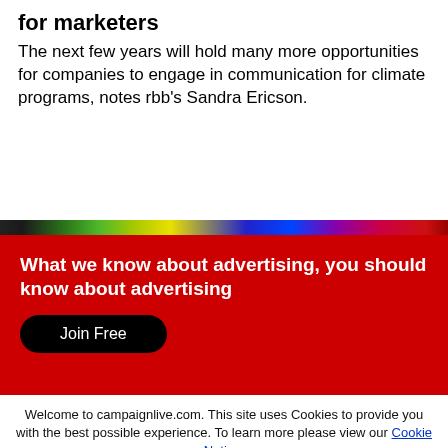for marketers
The next few years will hold many more opportunities for companies to engage in communication for climate programs, notes rbb's Sandra Ericson.
[Figure (photo): Colorful horizontal image strip with green, yellow, blue, purple and red gradient colors]
What we know about advertising, you should know about advertising
Join Free
Welcome to campaignlive.com. This site uses Cookies to provide you with the best possible experience. To learn more please view our Cookie Notice.
Close